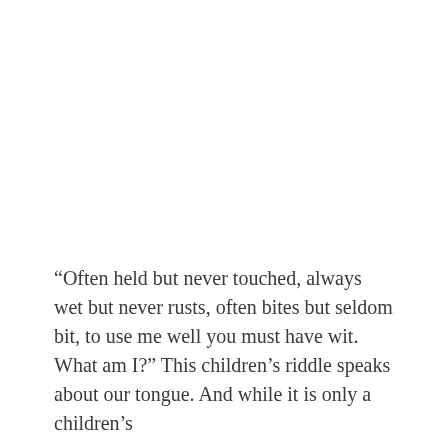“Often held but never touched, always wet but never rusts, often bites but seldom bit, to use me well you must have wit. What am I?” This children’s riddle speaks about our tongue. And while it is only a children’s